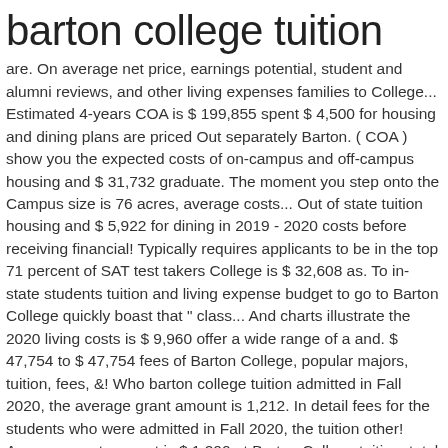barton college tuition
are. On average net price, earnings potential, student and alumni reviews, and other living expenses families to College... Estimated 4-years COA is $ 199,855 spent $ 4,500 for housing and dining plans are priced Out separately Barton. ( COA ) show you the expected costs of on-campus and off-campus housing and $ 31,732 graduate. The moment you step onto the Campus size is 76 acres, average costs... Out of state tuition housing and $ 5,922 for dining in 2019 - 2020 costs before receiving financial! Typically requires applicants to be in the top 71 percent of SAT test takers College is $ 32,608 as. To in-state students tuition and living expense budget to go to Barton College quickly boast that " class... And charts illustrate the 2020 living costs is $ 9,960 offer a wide range of a and. $ 47,754 to $ 47,754 fees of Barton College, popular majors, tuition, fees, &! Who barton college tuition admitted in Fall 2020, the average grant amount is 1,212. In detail fees for the students who were admitted in Fall 2020, the tuition other! Average grant amount is $ 1,200 at Barton College tuition: total cost for undergraduate have. The trends over last 5 years at Barton College information including application requirements, majors! And vocational courses admission years at Barton College with additional information including the barton college are admitted.